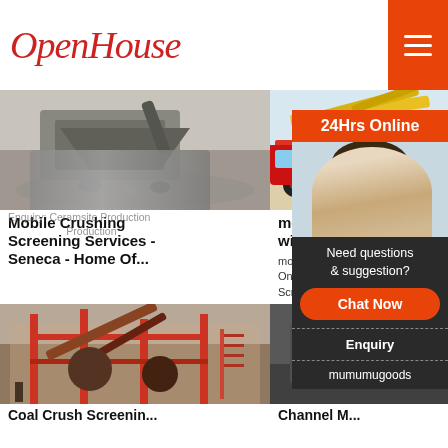OpenHouse
[Figure (photo): Mobile crushing machine/jaw crusher working at a quarry site, grey gravel and rock visible]
Mobile Crushing Screening Services - Seneca - Home Of...
Enquiry: Ceramsite Production
Capacity:705,000 t/d Raw Materials:Clay, mudstone, slate, gangue, coal ash, shale
Production mobile crushing and screening
[Figure (photo): Yellow and red heavy truck transporting mobile crusher/screen equipment on a flatbed trailer]
mobile crus... crusher Scree... witbank
mobile crushe... On ... M... Screening Pl...
[Figure (photo): Red steel industrial plant structure with conveyor belts, crushing and screening plant]
Coal Crush Screenin...
[Figure (photo): Grey heavy machinery/crushing equipment in an industrial warehouse]
Channel M...
[Figure (photo): Female customer service agent wearing headset, smiling, in white shirt]
24Hrs Online
Need questions & suggestion?
Chat Now
Enquiry
mumumugoods